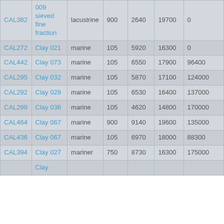| CAL382 | 009 sieved fine fraction | lacustrine | 900 | 2640 | 19700 | 0 |
| CAL272 | Clay 021 | marine | 105 | 5920 | 16300 | 0 |
| CAL442 | Clay 073 | marine | 105 | 6550 | 17900 | 96400 |
| CAL295 | Clay 032 | marine | 105 | 5870 | 17100 | 124000 |
| CAL292 | Clay 029 | marine | 105 | 6530 | 16400 | 137000 |
| CAL299 | Clay 036 | marine | 105 | 4620 | 14800 | 170000 |
| CAL464 | Clay 067 | marine | 900 | 9140 | 19600 | 135000 |
| CAL436 | Clay 067 | marine | 105 | 6970 | 18000 | 88300 |
| CAL394 | Clay 027 | mariner | 750 | 8730 | 16300 | 175000 |
|  | Clay |  |  |  |  |  |